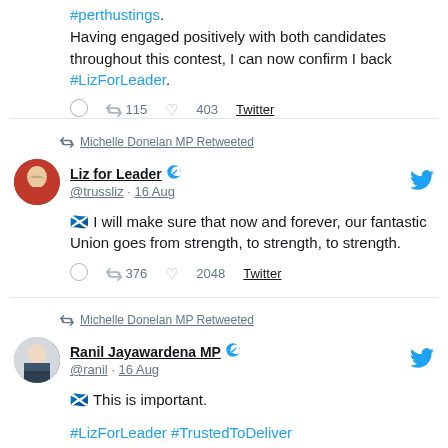#perthustings. Having engaged positively with both candidates throughout this contest, I can now confirm I back #LizForLeader.
115 retweets, 403 likes, Twitter
Michelle Donelan MP Retweeted
Liz for Leader @trussliz · 16 Aug
🏴󠁧󠁢󠁳󠁣󠁴󠁿 I will make sure that now and forever, our fantastic Union goes from strength, to strength, to strength.
376 retweets, 2048 likes, Twitter
Michelle Donelan MP Retweeted
Ranil Jayawardena MP @ranil · 16 Aug
🏴󠁧󠁢󠁳󠁣󠁴󠁿 This is important.
#LizForLeader #TrustedToDeliver
63 retweets, 171 likes, Twitter